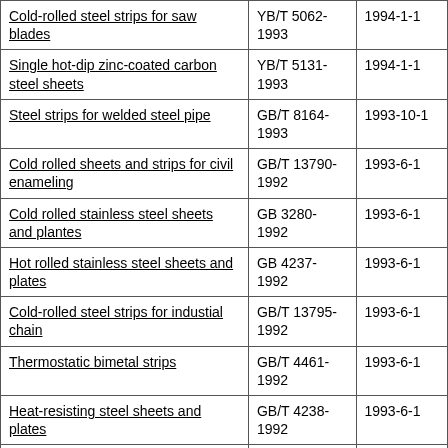| Cold-rolled steel strips for saw blades | YB/T 5062-1993 | 1994-1-1 |
| Single hot-dip zinc-coated carbon steel sheets | YB/T 5131-1993 | 1994-1-1 |
| Steel strips for welded steel pipe | GB/T 8164-1993 | 1993-10-1 |
| Cold rolled sheets and strips for civil enameling | GB/T 13790-1992 | 1993-6-1 |
| Cold rolled stainless steel sheets and plantes | GB 3280-1992 | 1993-6-1 |
| Hot rolled stainless steel sheets and plates | GB 4237-1992 | 1993-6-1 |
| Cold-rolled steel strips for industial chain | GB/T 13795-1992 | 1993-6-1 |
| Thermostatic bimetal strips | GB/T 4461-1992 | 1993-6-1 |
| Heat-resisting steel sheets and plates | GB/T 4238-1992 | 1993-6-1 |
| Hot-rolled cardon and low alloy structural steel strips | GB/T 3524-1992 | 1993-6-1 |